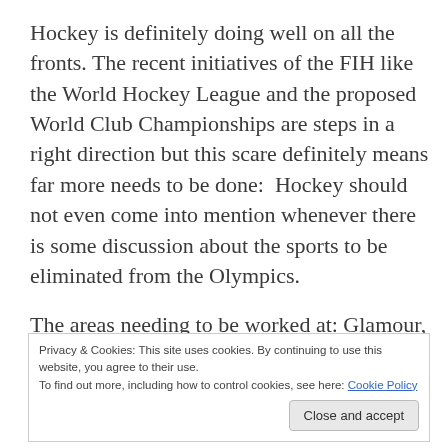Hockey is definitely doing well on all the fronts. The recent initiatives of the FIH like the World Hockey League and the proposed World Club Championships are steps in a right direction but this scare definitely means far more needs to be done:  Hockey should not even come into mention whenever there is some discussion about the sports to be eliminated from the Olympics.
The areas needing to be worked at: Glamour,
Privacy & Cookies: This site uses cookies. By continuing to use this website, you agree to their use.
To find out more, including how to control cookies, see here: Cookie Policy
Quite a few domestic hockey leagues in